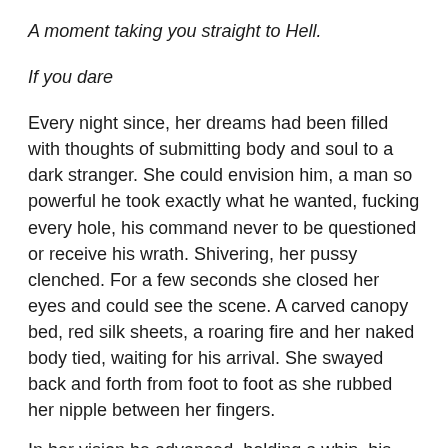A moment taking you straight to Hell.
If you dare
Every night since, her dreams had been filled with thoughts of submitting body and soul to a dark stranger. She could envision him, a man so powerful he took exactly what he wanted, fucking every hole, his command never to be questioned or receive his wrath. Shivering, her pussy clenched. For a few seconds she closed her eyes and could see the scene. A carved canopy bed, red silk sheets, a roaring fire and her naked body tied, waiting for his arrival. She swayed back and forth from foot to foot as she rubbed her nipple between her fingers.
In her vision he advanced, holding a whip, his eyes penetrating. She wanted to beg, plead with him to slice the leather to release some of her darkest desires.